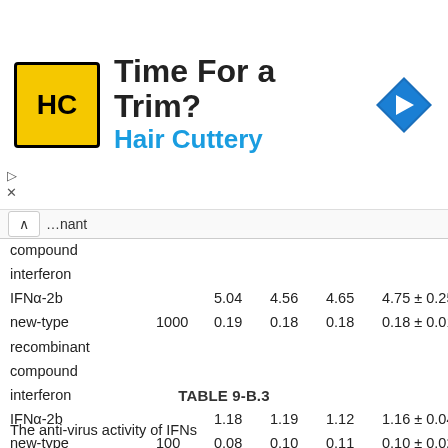[Figure (other): Advertisement banner for Hair Cuttery salon with logo, tagline 'Time For a Trim?', brand name 'Hair Cuttery', and navigation icon]
| Compound | Dose (IU/mL) | Rep 1 | Rep 2 | Rep 3 | Mean ± SD |
| --- | --- | --- | --- | --- | --- |
| interferon IFNα-2b |  | 5.04 | 4.56 | 4.65 | 4.75 ± 0.25 |
| new-type recombinant compound interferon IFNα-2b | 1000 | 0.19 | 0.18 | 0.18 | 0.18 ± 0.01 |
| new-type recombinant compound interferon IFNα-2b | 100 | 1.18 | 1.19 | 1.12 | 1.16 ± 0.04 |
|  |  | 0.08 | 0.10 | 0.11 | 0.10 ± 0.02 |
| new-type recombinant compound interferon IFNα-2b |  | 0.33 | 0.21 | 0.30 | 0.28 ± 0.06 |
TABLE 9-B.3
The anti-virus activity of IFNs